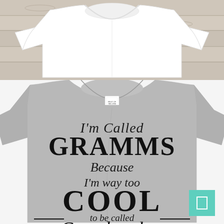[Figure (photo): White t-shirt laid flat on a rustic white-painted wooden plank surface, viewed from above, plain white tee with no graphics]
[Figure (photo): Gray heather t-shirt with black decorative text reading: I'm Called GRAMMS Because I'm way too COOL to be called Grandmother. Features mixed script and slab-serif fonts. Small brand tag visible at collar. Teal/mint square icon badge in bottom-right corner.]